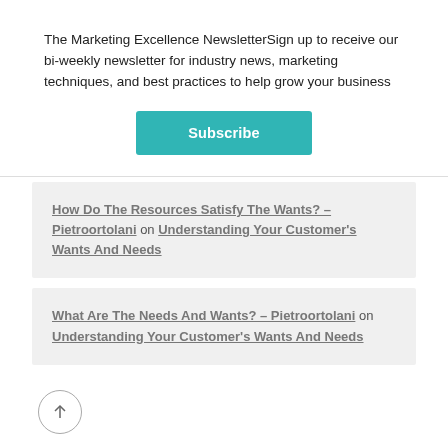The Marketing Excellence NewsletterSign up to receive our bi-weekly newsletter for industry news, marketing techniques, and best practices to help grow your business
Subscribe
How Do The Resources Satisfy The Wants? – Pietroortolani on Understanding Your Customer's Wants And Needs
What Are The Needs And Wants? – Pietroortolani on Understanding Your Customer's Wants And Needs